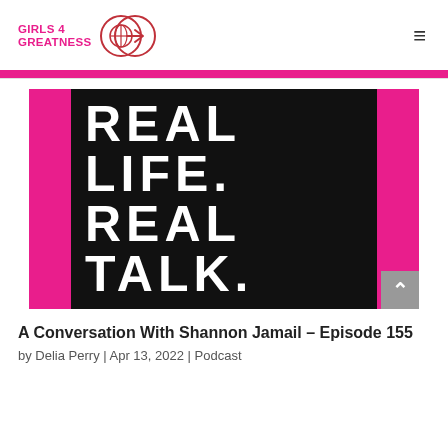GIRLS 4 GREATNESS
[Figure (logo): Girls 4 Greatness logo with two overlapping circles containing a globe/arrow icon, and a hamburger menu icon on the right]
[Figure (photo): Podcast cover image with pink sides and black center showing bold white text: REAL LIFE. REAL TALK.]
A Conversation With Shannon Jamail – Episode 155
by Delia Perry | Apr 13, 2022 | Podcast